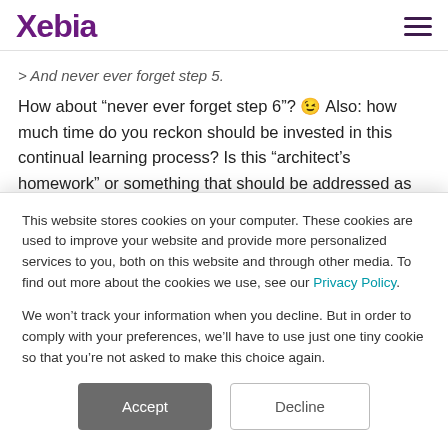Xebia
> And never ever forget step 5.
How about “never ever forget step 6”? 😉 Also: how much time do you reckon should be invested in this continual learning process? Is this “architect’s homework” or something that should be addressed as part of a learning and training (time) budget?
This website stores cookies on your computer. These cookies are used to improve your website and provide more personalized services to you, both on this website and through other media. To find out more about the cookies we use, see our Privacy Policy.

We won’t track your information when you decline. But in order to comply with your preferences, we’ll have to use just one tiny cookie so that you’re not asked to make this choice again.